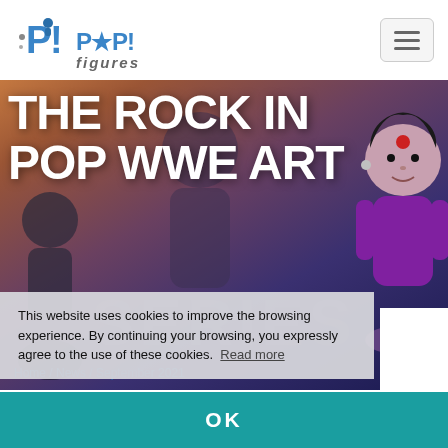[Figure (logo): Pop! Figures logo - blue stylized text with figure icon]
[Figure (photo): Hero image banner showing THE ROCK IN POP WWE ART with Funko Pop figures in background, warm gradient backdrop]
THE ROCK IN POP WWE ART
This website uses cookies to improve the browsing experience. By continuing your browsing, you expressly agree to the use of these cookies.  Read more
Home / News / September 2021
OK